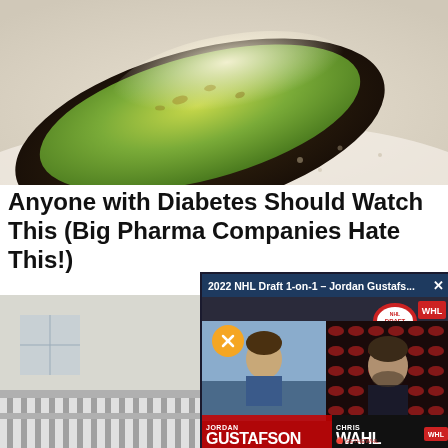[Figure (photo): Close-up photo of a halved avocado on a white surface, showing green flesh and dark skin]
Anyone with Diabetes Should Watch This (Big Pharma Companies Hate This!)
Health is Life
[Figure (screenshot): Screenshot of a video titled '2022 NHL Draft 1-on-1 – Jordan Gustafs...' showing two people in split screen. Left panel shows Jordan Gustafson, right panel shows Chris Wahl. WWE Draft logo visible. Mute button shown.]